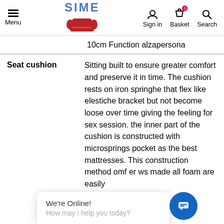Menu | SIME | Sign in | Basket | Search
10cm Function alzapersona
|  |  |
| --- | --- |
| Seat cushion | Sitting built to ensure greater comfort and preserve it in time. The cushion rests on iron springhe that flex like elestiche bracket but not become loose over time giving the feeling for sex session. the inner part of the cushion is constructed with microsprings pocket as the best mattresses. This construction method omf... er... ws... made all foam are easily |
[Figure (other): We're Online! How may I help you today? chat widget overlay with blue circular chat button]